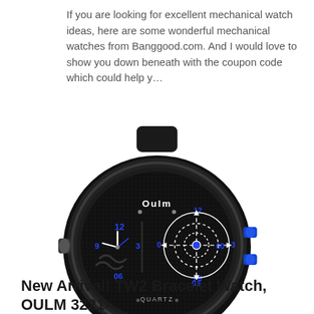If you are looking for excellent mechanical watch ideas, here are some wonderful mechanical watches from Banggood.com. And I would love to show you down beneath with the coupon code which could help y...
[Figure (photo): Photo of an Oulm dual-dial quartz wristwatch with black case and strap, featuring blue hour markers and a crosshair/target design on the right subdial.]
New Arrival! TW2 Bracelet Watch, OULM 3221-